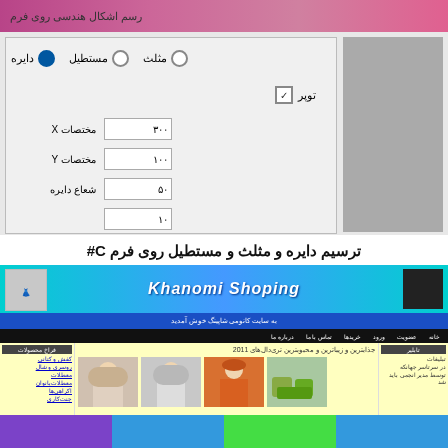[Figure (screenshot): Screenshot of a C# Windows Form application for drawing shapes (circle, rectangle, triangle) with radio buttons, a checkbox labeled 'border', input fields for X coordinates, Y coordinates, and circle radius, and a gray drawing canvas area.]
ترسیم دایره و مثلث و مستطیل روی فرم C#
[Figure (screenshot): Screenshot of a Persian shopping website called 'Khanomi Shoping' with blue gradient header, navigation bars, left sidebar with categories, main content showing fashion models for 2011, and right sidebar with advertisements.]
[Figure (infographic): Four colored horizontal bars at bottom: purple, blue, green, blue]